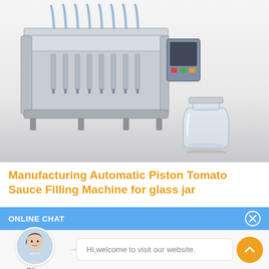[Figure (photo): Industrial automatic piston filling machine (stainless steel, multi-nozzle) with a glass jar beside it on white/grey gradient background]
Manufacturing Automatic Piston Tomato Sauce Filling Machine for glass jar
ONLINE CHAT
[Figure (photo): Chat avatar of a woman named Cilina with a speech bubble saying 'Hi,welcome to visit our website.']